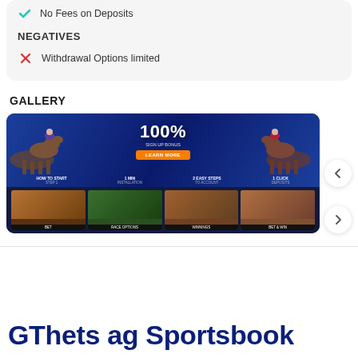No Fees on Deposits
NEGATIVES
Withdrawal Options limited
GALLERY
[Figure (screenshot): A sportsbook promotional banner showing '100%' bonus offer with horse racing images and thumbnail navigation below]
GThets ag Sportsbook